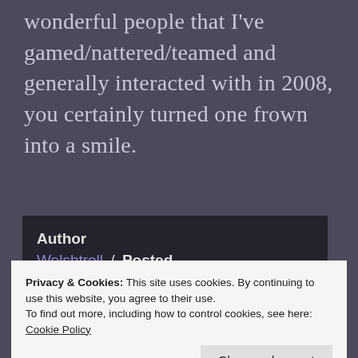wonderful people that I've gamed/nattered/teamed and generally interacted with in 2008, you certainly turned one frown into a smile.
Author Welshtroll / Posted January 1, 2009 / Categories About Me, Gaming, Podcasts / Tags 2008
Privacy & Cookies: This site uses cookies. By continuing to use this website, you agree to their use.
To find out more, including how to control cookies, see here: Cookie Policy
Close and accept
costumes please